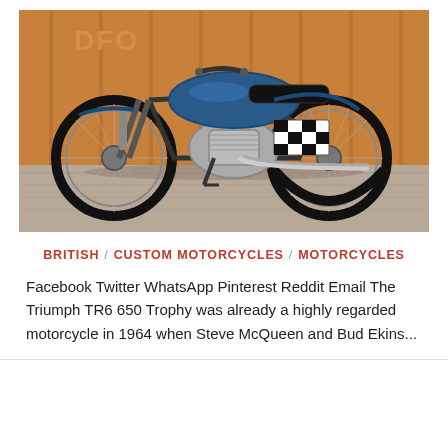[Figure (photo): Side-view photo of a classic Triumph TR6 650 Trophy motorcycle parked in front of orange metal shipping containers. The motorcycle is blue with a checkered pattern panel, chrome engine, and spoke wheels.]
BRITISH / CUSTOM MOTORCYCLES / MOTORCYCLES
Facebook Twitter WhatsApp Pinterest Reddit Email The Triumph TR6 650 Trophy was already a highly regarded motorcycle in 1964 when Steve McQueen and Bud Ekins...